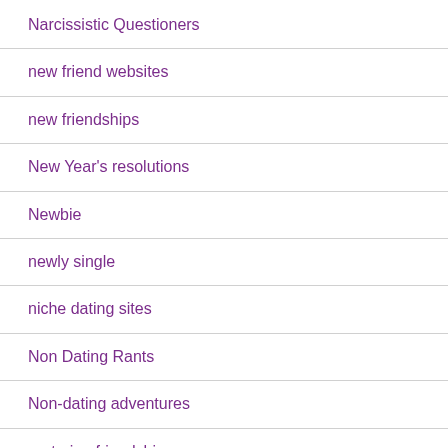Narcissistic Questioners
new friend websites
new friendships
New Year's resolutions
Newbie
newly single
niche dating sites
Non Dating Rants
Non-dating adventures
nurturing friendships